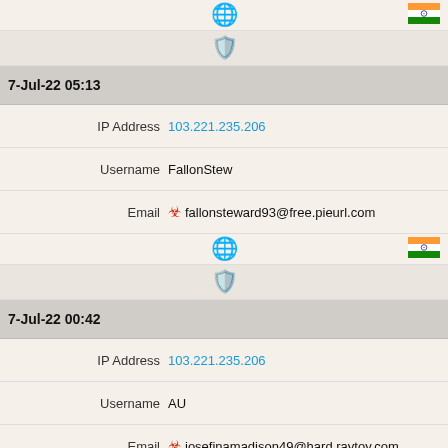Globe icon and India flag (partial top row)
Shield icon row
7-Jul-22 05:13
IP Address 103.221.235.206
Username FallonStew
Email fallonsteward93@free.pieurl.com
Globe and India flag row
Shield icon row
7-Jul-22 00:42
IP Address 103.221.235.206
Username AU
Email josefinamadison49@hard.raytoy.com
Globe and India flag row
Shield icon row
6-Jul-22 19:55
IP Address 103.221.235.206
Username DeannaL930
Email (partial, biohazard icon visible)